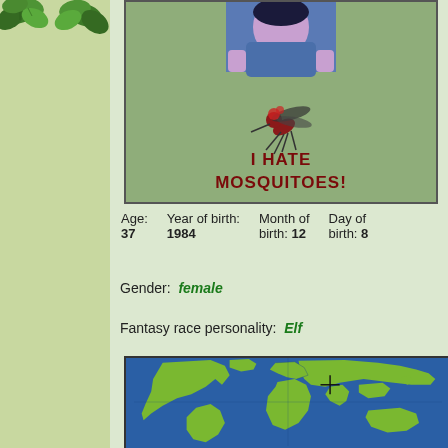[Figure (illustration): Vertical ivy/leaf decorative strip on the left side of the page]
[Figure (illustration): Profile image box with a cartoon character and 'I HATE MOSQUITOES!' text with mosquito graphic on a sage green background]
Age: 37  Year of birth: 1984  Month of birth: 12  Day of birth: 8
Gender: female
Fantasy race personality: Elf
[Figure (map): World map showing continents in green on blue ocean background with crosshair marker over Europe]